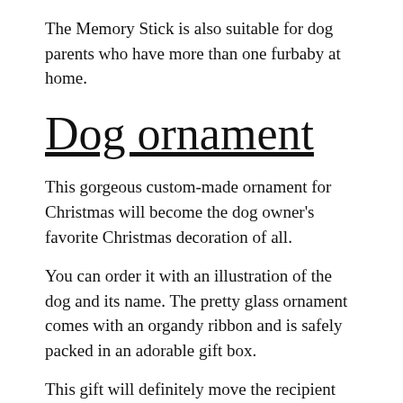The Memory Stick is also suitable for dog parents who have more than one furbaby at home.
Dog ornament
This gorgeous custom-made ornament for Christmas will become the dog owner's favorite Christmas decoration of all.
You can order it with an illustration of the dog and its name. The pretty glass ornament comes with an organdy ribbon and is safely packed in an adorable gift box.
This gift will definitely move the recipient and will show how much you appreciate and agree with